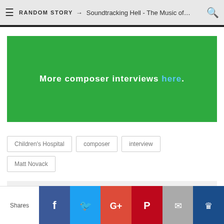RANDOM STORY → Soundtracking Hell - The Music of…
More composer interviews here.
Children's Hospital
composer
interview
Matt Novack
SHARE ON: